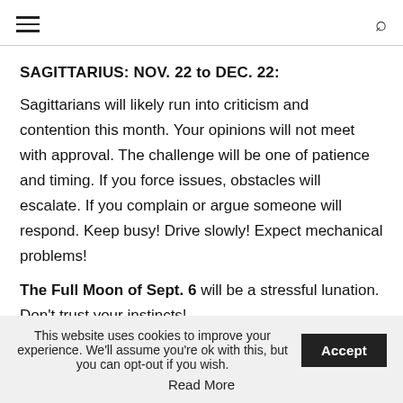☰ [menu icon] | [search icon]
SAGITTARIUS: NOV. 22 to DEC. 22:
Sagittarians will likely run into criticism and contention this month. Your opinions will not meet with approval. The challenge will be one of patience and timing. If you force issues, obstacles will escalate. If you complain or argue someone will respond. Keep busy! Drive slowly! Expect mechanical problems!
The Full Moon of Sept. 6 will be a stressful lunation. Don't trust your instincts!
This website uses cookies to improve your experience. We'll assume you're ok with this, but you can opt-out if you wish. Accept
Read More